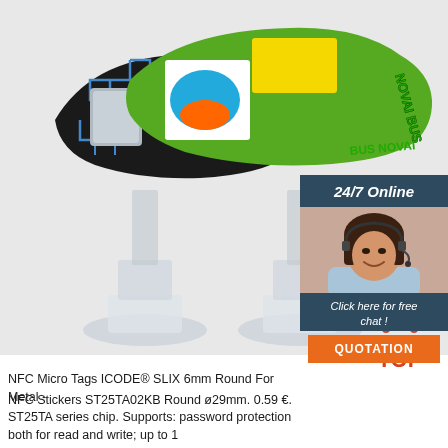[Figure (photo): Three NFC wristbands on clear acrylic display stands: one black with maze pattern and 'SPLIT' text, one colorful with cartoon/event graphics, one green with yellow patch and 'NOVAI BUS' text. White/light grey background.]
[Figure (infographic): 24/7 Online customer support widget with dark blue-grey background, photo of smiling woman with headset, text 'Click here for free chat!' and orange QUOTATION button.]
[Figure (logo): Orange TOP icon with dots above it arranged in a triangle/arch, with text TOP in orange below.]
NFC Micro Tags ICODE® SLIX 6mm Round For Metal -
NFC Stickers ST25TA02KB Round ø29mm. 0.59 €. ST25TA series chip. Supports: password protection both for read and write; up to 1